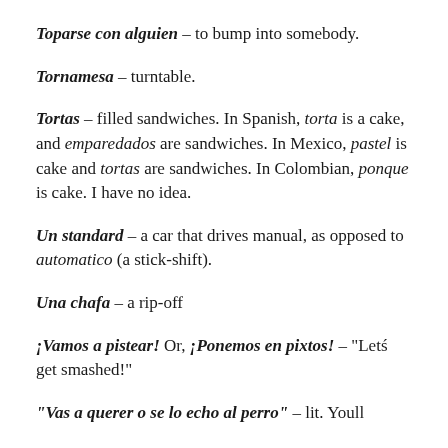Toparse con alguien – to bump into somebody.
Tornamesa – turntable.
Tortas – filled sandwiches. In Spanish, torta is a cake, and emparedados are sandwiches. In Mexico, pastel is cake and tortas are sandwiches. In Colombian, ponque is cake. I have no idea.
Un standard – a car that drives manual, as opposed to automatico (a stick-shift).
Una chafa – a rip-off
¡Vamos a pistear! Or, ¡Ponemos en pixtos! – "Letś get smashed!"
"Vas a querer o se lo echo al perro" – lit. Youll